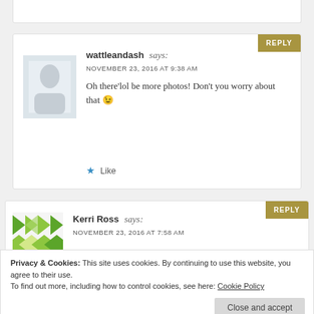wattleandash says: NOVEMBER 23, 2016 AT 9:38 AM
Oh there'lol be more photos! Don't you worry about that 😉
Like
Kerri Ross says: NOVEMBER 23, 2016 AT 7:58 AM
Privacy & Cookies: This site uses cookies. By continuing to use this website, you agree to their use.
To find out more, including how to control cookies, see here: Cookie Policy
Close and accept